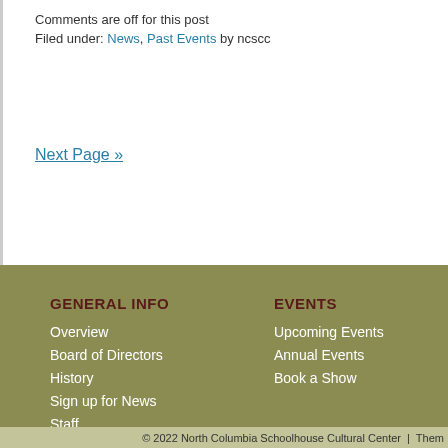Comments are off for this post
Filed under: News, Past Events by ncscc
Next Page »
GENERAL INFO
Overview
Board of Directors
History
Sign up for News
Staff
EVENTS
Upcoming Events
Annual Events
Book a Show
© 2022 North Columbia Schoolhouse Cultural Center  |  Them